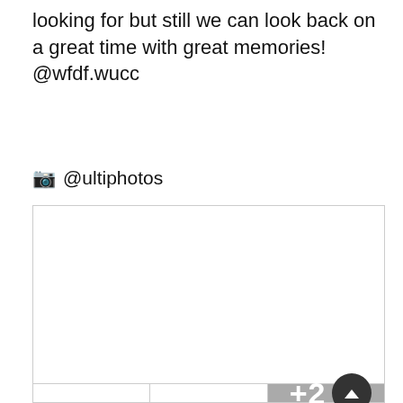looking for but still we can look back on a great time with great memories!
@wfdf.wucc
📷 @ultiphotos
[Figure (photo): A photo grid with one large photo on top and three smaller photos below. The third bottom photo is overlaid with a gray panel showing '+2' and a dark circular arrow/chevron button.]